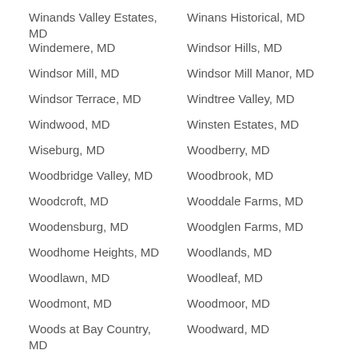Winands Valley Estates, MD
Winans Historical, MD
Windemere, MD
Windsor Hills, MD
Windsor Mill, MD
Windsor Mill Manor, MD
Windsor Terrace, MD
Windtree Valley, MD
Windwood, MD
Winsten Estates, MD
Wiseburg, MD
Woodberry, MD
Woodbridge Valley, MD
Woodbrook, MD
Woodcroft, MD
Wooddale Farms, MD
Woodensburg, MD
Woodglen Farms, MD
Woodhome Heights, MD
Woodlands, MD
Woodlawn, MD
Woodleaf, MD
Woodmont, MD
Woodmoor, MD
Woods at Bay Country, MD
Woodward, MD